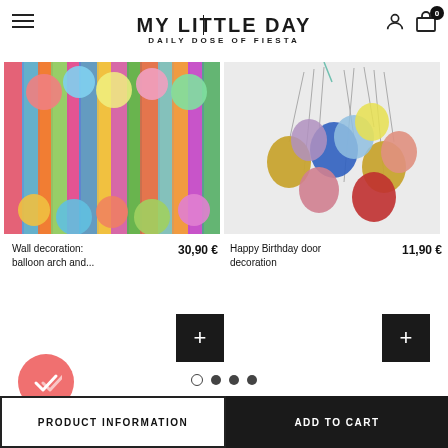MY LITTLE DAY · DAILY DOSE OF FIESTA
[Figure (photo): Colorful balloon arch and streamer wall decoration with multicolored fringe streamers and balloons in various bright colors]
[Figure (photo): Happy Birthday door decoration with hanging metallic and pastel balloons in gold, blue, red, pink, lavender colors]
Wall decoration: balloon arch and...
30,90 €
Happy Birthday door decoration
11,90 €
PRODUCT INFORMATION
ADD TO CART